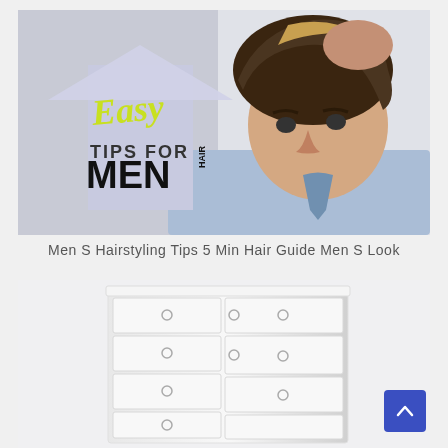[Figure (photo): Composite image showing a man styling his hair, overlaid with a house-shaped graphic with yellow cursive 'Easy' text and 'TIPS FOR MEN HAIR' in bold black letters on a light purple background.]
Men S Hairstyling Tips 5 Min Hair Guide Men S Look
[Figure (photo): A white chest of drawers / dresser with multiple drawers, each with small round knobs, photographed against a white background.]